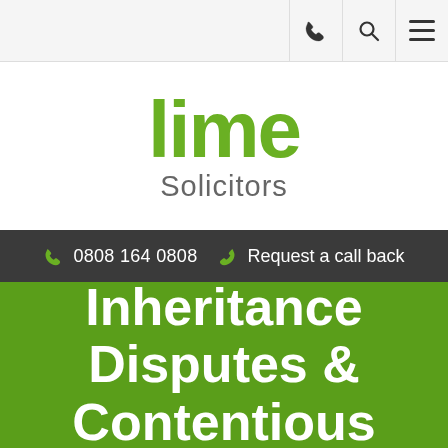Navigation bar with phone, search, and menu icons
[Figure (logo): Lime Solicitors logo — 'lime' in bold green text, 'Solicitors' in grey below]
0808 164 0808  Request a call back
Inheritance Disputes & Contentious